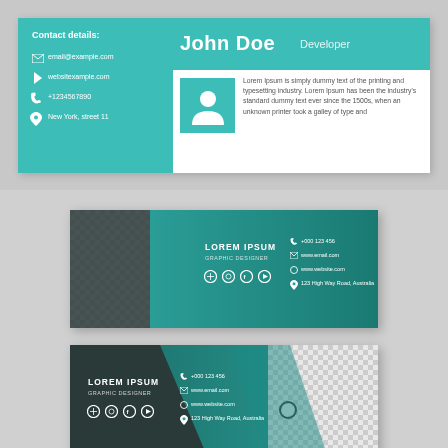[Figure (illustration): Email signature template card 1: teal/white card with 'John Doe Developer' header, contact details on left (email, website, phone, address), profile avatar and Lorem Ipsum text on right]
[Figure (illustration): Email signature template card 2: dark teal gradient banner with checkered photo area on left, LOREM IPSUM name/title and social icons in center, contact details on right]
[Figure (illustration): Email signature template card 3: dark teal gradient banner with LOREM IPSUM name/title and social icons on left, contact details in center, checkered photo area on right with circular cutout]